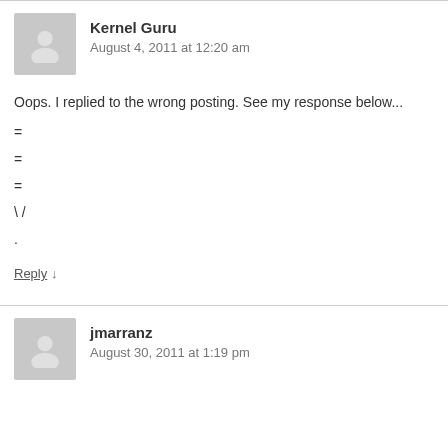Kernel Guru
August 4, 2011 at 12:20 am
Oops. I replied to the wrong posting. See my response below...
=
=
=
\ /
.
Reply ↓
jmarranz
August 30, 2011 at 1:19 pm